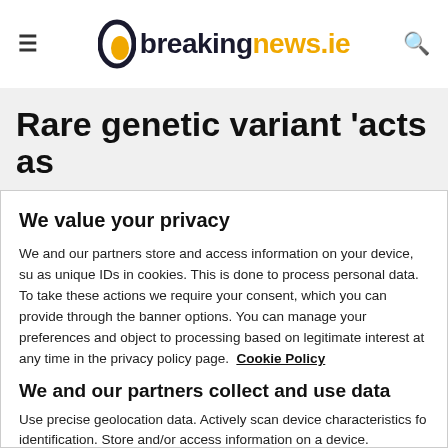breakingnews.ie
Rare genetic variant 'acts as
We value your privacy
We and our partners store and access information on your device, su as unique IDs in cookies. This is done to process personal data. To take these actions we require your consent, which you can provide through the banner options. You can manage your preferences and object to processing based on legitimate interest at any time in the privacy policy page.  Cookie Policy
We and our partners collect and use data
Use precise geolocation data. Actively scan device characteristics fo identification. Store and/or access information on a device. Personalised ads and content, ad and content measurement, audienc insights and product development.
List of Partners (vendors)